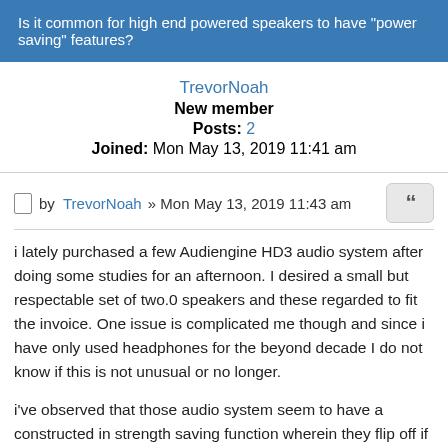Is it common for high end powered speakers to have "power saving" features?
TrevorNoah
New member
Posts: 2
Joined: Mon May 13, 2019 11:41 am
by TrevorNoah » Mon May 13, 2019 11:43 am
i lately purchased a few Audiengine HD3 audio system after doing some studies for an afternoon. I desired a small but respectable set of two.0 speakers and these regarded to fit the invoice. One issue is complicated me though and since i have only used headphones for the beyond decade I do not know if this is not unusual or no longer.

i've observed that those audio system seem to have a constructed in strength saving function wherein they flip off if there's no sound output from the laptop. this is maximum noticable if I play a YouTube video and skip round, the sound